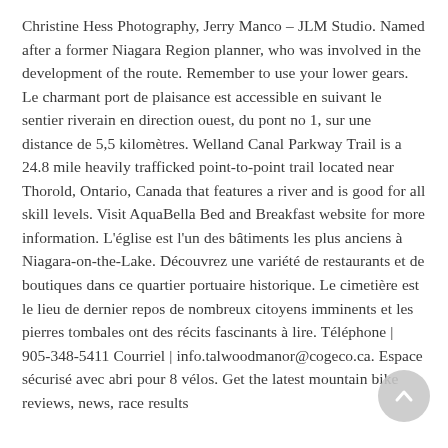Christine Hess Photography, Jerry Manco – JLM Studio. Named after a former Niagara Region planner, who was involved in the development of the route. Remember to use your lower gears. Le charmant port de plaisance est accessible en suivant le sentier riverain en direction ouest, du pont no 1, sur une distance de 5,5 kilomètres. Welland Canal Parkway Trail is a 24.8 mile heavily trafficked point-to-point trail located near Thorold, Ontario, Canada that features a river and is good for all skill levels. Visit AquaBella Bed and Breakfast website for more information. L'église est l'un des bâtiments les plus anciens à Niagara-on-the-Lake. Découvrez une variété de restaurants et de boutiques dans ce quartier portuaire historique. Le cimetière est le lieu de dernier repos de nombreux citoyens imminents et les pierres tombales ont des récits fascinants à lire. Téléphone | 905-348-5411 Courriel | info.talwoodmanor@cogeco.ca. Espace sécurisé avec abri pour 8 vélos. Get the latest mountain bike reviews, news, race results